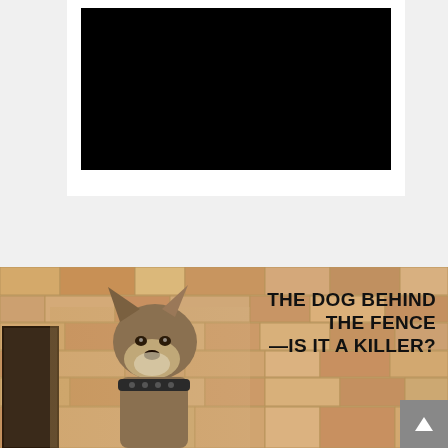[Figure (photo): A dark/black rectangle representing a video or image frame, set within a white bordered box on a light gray background. Upper portion of the page.]
[Figure (photo): A German Shepherd dog sitting against a stone brick wall background, with bold text overlay reading 'THE DOG BEHIND THE FENCE —IS IT A KILLER?' on the right side. A gray scroll-to-top button appears at the bottom right.]